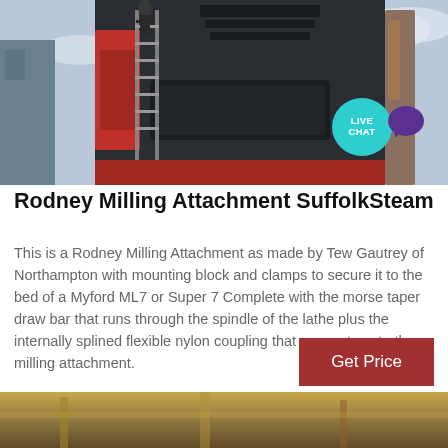[Figure (photo): Large industrial milling machine or crusher equipment photographed from below, painted dark/black with red accents, a worker climbing a ladder on the side, industrial background with cloudy sky. A teal 'LIVE CHAT' badge with a purple speech bubble icon appears in the top right corner.]
Rodney Milling Attachment SuffolkSteam
This is a Rodney Milling Attachment as made by Tew Gautrey of Northampton with mounting block and clamps to secure it to the bed of a Myford ML7 or Super 7 Complete with the morse taper draw bar that runs through the spindle of the lathe plus the internally splined flexible nylon coupling that connects onto the milling attachment.
Get Price
[Figure (photo): Partial view of industrial machinery interior, yellow/golden tones.]